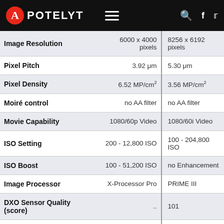APOTELYT
| Spec | Camera 1 | Camera 2 |
| --- | --- | --- |
| Image Resolution | 6000 x 4000 pixels | 8256 x 6192 pixels |
| Pixel Pitch | 3.92 μm | 5.30 μm |
| Pixel Density | 6.52 MP/cm² | 3.56 MP/cm² |
| Moiré control | no AA filter | no AA filter |
| Movie Capability | 1080/60p Video | 1080/60i Video |
| ISO Setting | 200 - 12,800 ISO | 100 - 204,800 ISO |
| ISO Boost | 100 - 51,200 ISO | no Enhancement |
| Image Processor | X-Processor Pro | PRIME III |
| DXO Sensor Quality (score) | .. | 101 |
| DXO Color Depth (bits) | .. | 26.0 |